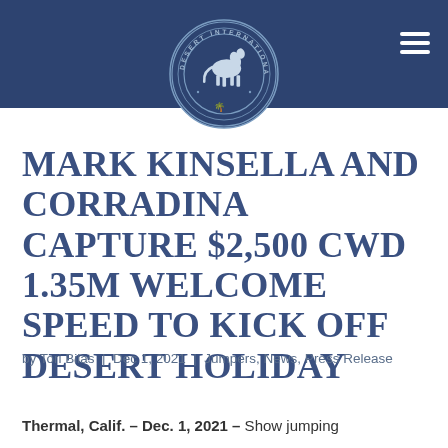[Figure (logo): Desert International Horse Park circular logo with horse silhouette and text around the border, white on dark blue background]
MARK KINSELLA AND CORRADINA CAPTURE $2,500 CWD 1.35M WELCOME SPEED TO KICK OFF DESERT HOLIDAY
by Tori Bilas | Dec 1, 2021 | Jumpers, News, Press Release
Thermal, Calif. – Dec. 1, 2021 – Show jumping